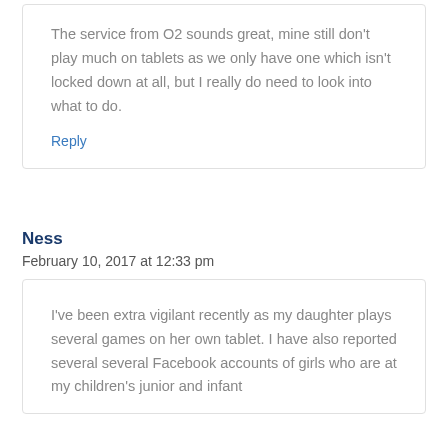The service from O2 sounds great, mine still don't play much on tablets as we only have one which isn't locked down at all, but I really do need to look into what to do.
Reply
Ness
February 10, 2017 at 12:33 pm
I've been extra vigilant recently as my daughter plays several games on her own tablet. I have also reported several several Facebook accounts of girls who are at my children's junior and infant